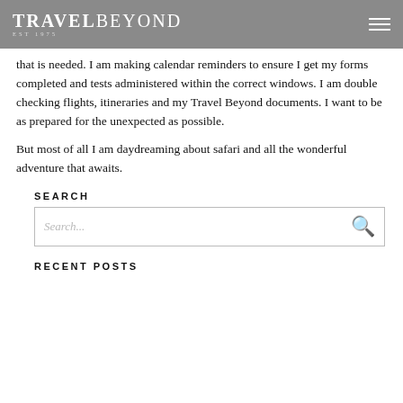TRAVELBEYOND EST 1975
that is needed. I am making calendar reminders to ensure I get my forms completed and tests administered within the correct windows. I am double checking flights, itineraries and my Travel Beyond documents. I want to be as prepared for the unexpected as possible.
But most of all I am daydreaming about safari and all the wonderful adventure that awaits.
SEARCH
Search...
RECENT POSTS